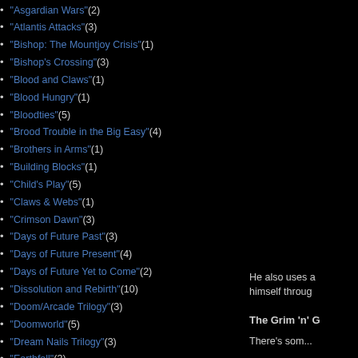"Asgardian Wars" (2)
"Atlantis Attacks" (3)
"Bishop: The Mountjoy Crisis" (1)
"Bishop's Crossing" (3)
"Blood and Claws" (1)
"Blood Hungry" (1)
"Bloodties" (5)
"Brood Trouble in the Big Easy" (4)
"Brothers in Arms" (1)
"Building Blocks" (1)
"Child's Play" (5)
"Claws & Webs" (1)
"Crimson Dawn" (3)
"Days of Future Past" (3)
"Days of Future Present" (4)
"Days of Future Yet to Come" (2)
"Dissolution and Rebirth" (10)
"Doom/Arcade Trilogy" (3)
"Doomworld" (5)
"Dream Nails Trilogy" (3)
"Earthfall" (3)
"Fall of the Mutants" (13)
He also uses a himself throug
The Grim 'n' G
There's som...